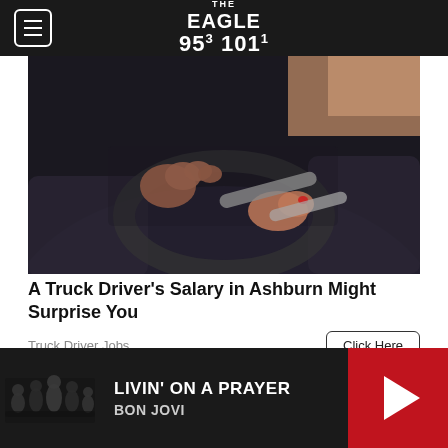The Eagle 95.3 101.1
[Figure (photo): Close-up photo of a person's hands gripping a truck steering wheel, with motion blur effect, dark interior background]
A Truck Driver's Salary in Ashburn Might Surprise You
Truck Driver Jobs
[Figure (photo): Partial photo showing a person in white clothing, second advertisement image]
LIVIN' ON A PRAYER
BON JOVI